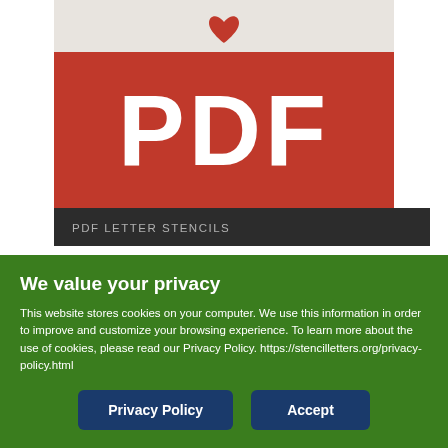[Figure (illustration): PDF file icon with red band showing 'PDF' text in white, on a light gray background, with a small heart icon at the top.]
PDF LETTER STENCILS
NEW! Premium PDF Letter Stencils
Italic Serif Calligraphy Printable Letter Stencil
We value your privacy
This website stores cookies on your computer. We use this information in order to improve and customize your browsing experience. To learn more about the use of cookies, please read our Privacy Policy. https://stencilletters.org/privacy-policy.html
Privacy Policy
Accept